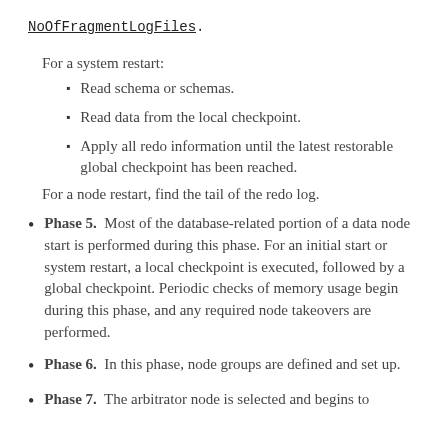NoOfFragmentLogFiles.
For a system restart:
Read schema or schemas.
Read data from the local checkpoint.
Apply all redo information until the latest restorable global checkpoint has been reached.
For a node restart, find the tail of the redo log.
Phase 5. Most of the database-related portion of a data node start is performed during this phase. For an initial start or system restart, a local checkpoint is executed, followed by a global checkpoint. Periodic checks of memory usage begin during this phase, and any required node takeovers are performed.
Phase 6. In this phase, node groups are defined and set up.
Phase 7. The arbitrator node is selected and begins to